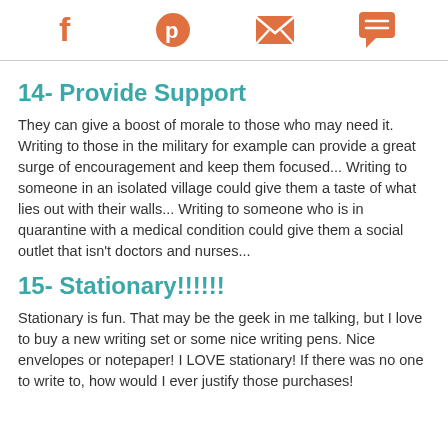[Social share icons: Facebook, Pinterest, Email, Comment]
14- Provide Support
They can give a boost of morale to those who may need it. Writing to those in the military for example can provide a great surge of encouragement and keep them focused... Writing to someone in an isolated village could give them a taste of what lies out with their walls... Writing to someone who is in quarantine with a medical condition could give them a social outlet that isn't doctors and nurses...
15- Stationary!!!!!!
Stationary is fun. That may be the geek in me talking, but I love to buy a new writing set or some nice writing pens. Nice envelopes or notepaper! I LOVE stationary! If there was no one to write to, how would I ever justify those purchases!